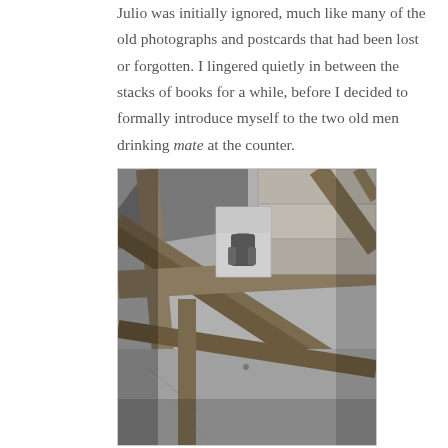Julio was initially ignored, much like many of the old photographs and postcards that had been lost or forgotten. I lingered quietly in between the stacks of books for a while, before I decided to formally introduce myself to the two old men drinking mate at the counter.
[Figure (photo): Black and white photograph showing wooden shelves or a bookshelf structure with diagonal and vertical wooden beams. In the center of the image, tucked between shelves, is a small photograph of a woman posing. The background shows stone or brick walls.]